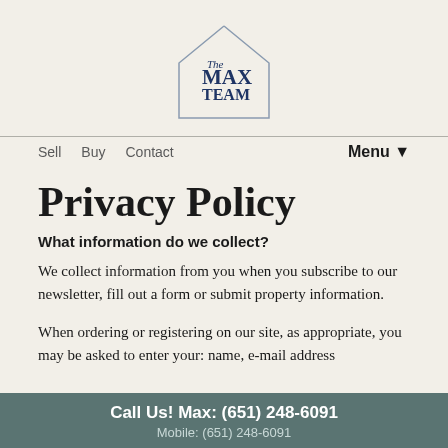[Figure (logo): The Max Team logo — house outline with text 'The MAX TEAM' in navy blue serif font]
Sell   Buy   Contact                                                Menu ▼
Privacy Policy
What information do we collect?
We collect information from you when you subscribe to our newsletter, fill out a form or submit property information.
When ordering or registering on our site, as appropriate, you may be asked to enter your: name, e-mail address
Call Us! Max: (651) 248-6091